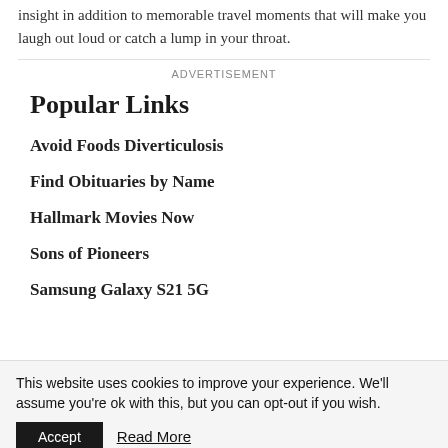is a life-changing read filled with inspiring insight in addition to memorable travel moments that will make you laugh out loud or catch a lump in your throat.
ADVERTISEMENT
Popular Links
Avoid Foods Diverticulosis
Find Obituaries by Name
Hallmark Movies Now
Sons of Pioneers
Samsung Galaxy S21 5G
This website uses cookies to improve your experience. We'll assume you're ok with this, but you can opt-out if you wish.